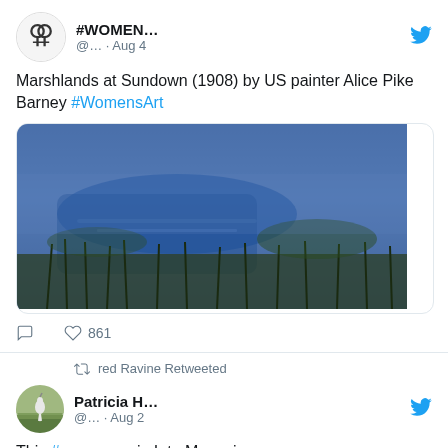[Figure (screenshot): Twitter/social media feed screenshot showing two tweets. First tweet from #WOMEN... account dated Aug 4 about 'Marshlands at Sundown (1908) by US painter Alice Pike Barney #WomensArt' with a painting image and 861 likes. Second tweet is a retweet by red Ravine of Patricia H... dated Aug 2 saying 'This #poem was in Iota Magazine:']